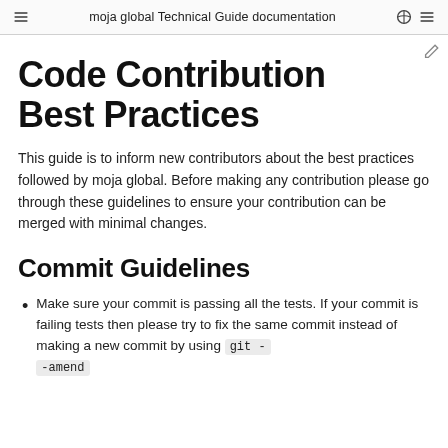moja global Technical Guide documentation
Code Contribution Best Practices
This guide is to inform new contributors about the best practices followed by moja global. Before making any contribution please go through these guidelines to ensure your contribution can be merged with minimal changes.
Commit Guidelines
Make sure your commit is passing all the tests. If your commit is failing tests then please try to fix the same commit instead of making a new commit by using git --amend